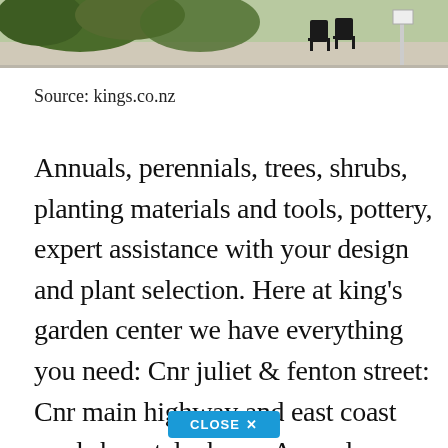[Figure (photo): Outdoor garden scene showing chairs and trees/shrubs, cropped at top of page, partial view]
Source: kings.co.nz
Annuals, perennials, trees, shrubs, planting materials and tools, pottery, expert assistance with your design and plant selection. Here at king's garden center we have everything you need: Cnr juliet & fenton street: Cnr main highway and east coast road show telephone. Annuals, perennials, trees, shrubs, planting materials and tools, pottery, expert assistance with